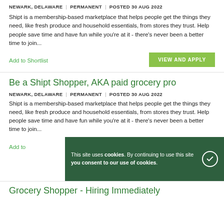NEWARK, DELAWARE | PERMANENT | POSTED 30 AUG 2022
Shipt is a membership-based marketplace that helps people get the things they need, like fresh produce and household essentials, from stores they trust. Help people save time and have fun while you're at it - there's never been a better time to join...
Add to Shortlist
VIEW AND APPLY
Be a Shipt Shopper, AKA paid grocery pro
NEWARK, DELAWARE | PERMANENT | POSTED 30 AUG 2022
Shipt is a membership-based marketplace that helps people get the things they need, like fresh produce and household essentials, from stores they trust. Help people save time and have fun while you're at it - there's never been a better time to join...
Add to
This site uses cookies. By continuing to use this site you consent to our use of cookies.
Grocery Shopper - Hiring Immediately